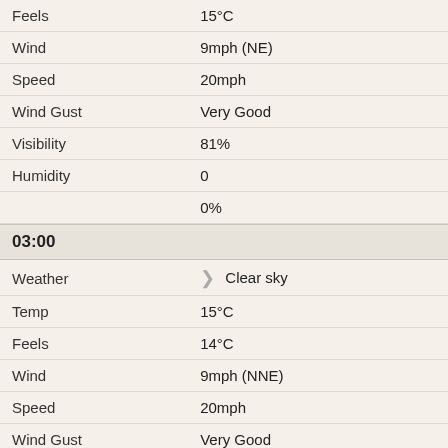| Field | Value |
| --- | --- |
| Feels | 15°C |
| Wind | 9mph (NE) |
| Speed | 20mph |
| Wind Gust | Very Good |
| Visibility | 81% |
| Humidity | 0 |
|  | 0% |
03:00
| Field | Value |
| --- | --- |
| Weather | 🌙 Clear sky |
| Temp | 15°C |
| Feels | 14°C |
| Wind | 9mph (NNE) |
| Speed | 20mph |
| Wind Gust | Very Good |
| Visibility | 84% |
| Humidity | 0 |
|  | 0% |
06:00
| Field | Value |
| --- | --- |
| Weather | ☀️ Sunny |
| Temp | 14°C |
| Feels | 12°C |
| Wind | 9mph (NNE) |
| Speed | 20mph |
| Wind Gust | Very Good |
| Visibility | 82% |